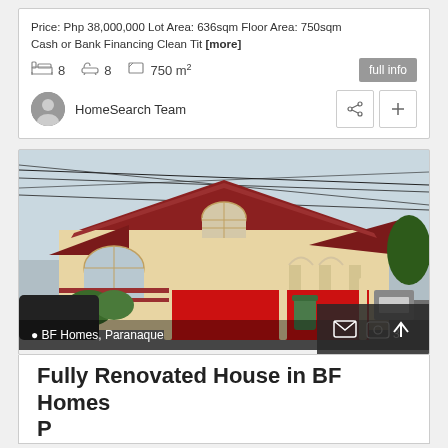Price: Php 38,000,000 Lot Area: 636sqm Floor Area: 750sqm Cash or Bank Financing Clean Tit [more]
8 bedrooms, 8 bathrooms, 750 m²
HomeSearch Team
[Figure (photo): Exterior photo of a renovated two-storey house with maroon/red roof, cream-colored walls, arched windows, red gate, located in BF Homes Paranaque]
BF Homes, Paranaque
Fully Renovated House in BF Homes P...